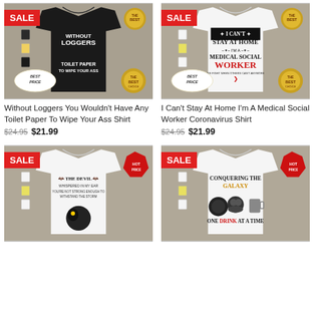[Figure (photo): Black t-shirt with text 'Without Loggers TOILET PAPER TO WIPE YOUR ASS', with SALE badge, Best Price and Best Choice badges]
Without Loggers You Wouldn't Have Any Toilet Paper To Wipe Your Ass Shirt
$24.95  $21.99
[Figure (photo): White t-shirt with text 'I CAN'T STAY AT HOME IM A MEDICAL SOCIAL WORKER', with SALE badge, Best Price and Best Choice badges]
I Can't Stay At Home I'm A Medical Social Worker Coronavirus Shirt
$24.95  $21.99
[Figure (photo): White t-shirt with text 'THE DEVIL WHISPERED IN MY EAR...' with black cat and skull, SALE and HOT PRICE badges]
[Figure (photo): White t-shirt with text 'CONQUERING THE GALAXY ONE DRINK AT A TIME' with Death Star and Mickey Mouse icons, SALE and HOT PRICE badges]